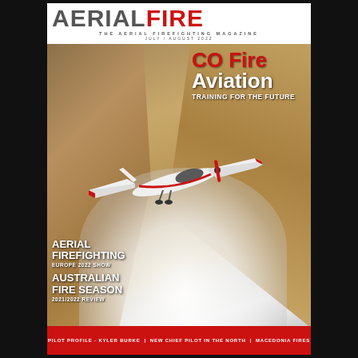AERIAL FIRE — THE AERIAL FIREFIGHTING MAGAZINE — JULY / AUGUST 2022
[Figure (photo): Cover photo of a white and red fixed-wing aircraft dropping white retardant/water over sandy desert terrain, viewed from above at an angle. The aircraft has red wing tips and a red propeller. Large white cloud of retardant disperses below and around the aircraft.]
CO Fire Aviation
TRAINING FOR THE FUTURE
AERIAL FIREFIGHTING
EUROPE 2022 SHOW
AUSTRALIAN FIRE SEASON
2021/2022 REVIEW
PILOT PROFILE - KYLER BURKE | NEW CHIEF PILOT IN THE NORTH | MACEDONIA FIRES